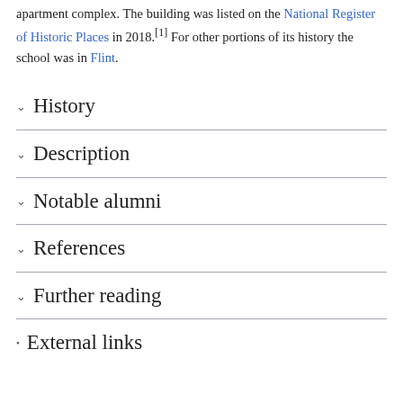apartment complex. The building was listed on the National Register of Historic Places in 2018.[1] For other portions of its history the school was in Flint.
History
Description
Notable alumni
References
Further reading
External links